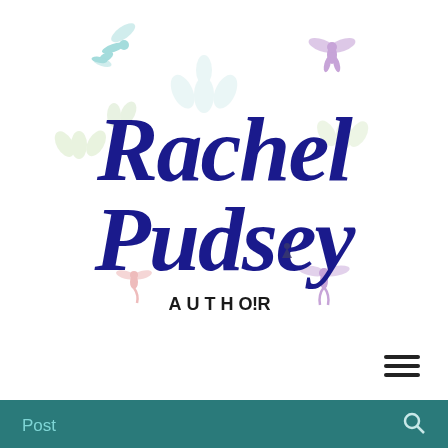[Figure (logo): Rachel Pudsey Author logo with script text in dark navy/blue, surrounded by decorative fairy/dragon silhouettes in pastel colors (teal, pink, purple) and floral vine elements]
[Figure (illustration): Hamburger menu icon (three horizontal lines)]
Post
Rachel Pudsey 👑
Nov 29, 2020 · 2 min